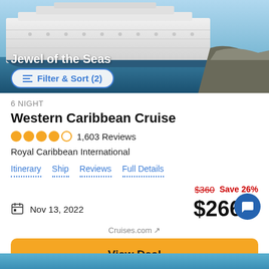[Figure (photo): Cruise ship 'Jewel of the Seas' docked at port, viewed from waterfront]
Jewel of the Seas
Filter & Sort (2)
6 NIGHT
Western Caribbean Cruise
1,603 Reviews
Royal Caribbean International
Itinerary  Ship  Reviews  Full Details
$360  Save 26%
Nov 13, 2022
$266* pp
Cruises.com ↗
View Deal